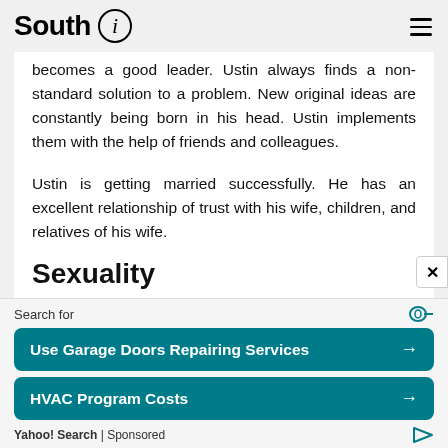South i
becomes a good leader. Ustin always finds a non-standard solution to a problem. New original ideas are constantly being born in his head. Ustin implements them with the help of friends and colleagues.
Ustin is getting married successfully. He has an excellent relationship of trust with his wife, children, and relatives of his wife.
Sexuality
[Figure (infographic): Advertisement overlay: Search for Use Garage Doors Repairing Services and HVAC Program Costs, Yahoo! Search Sponsored]
Search for
Use Garage Doors Repairing Services →
HVAC Program Costs →
Yahoo! Search | Sponsored